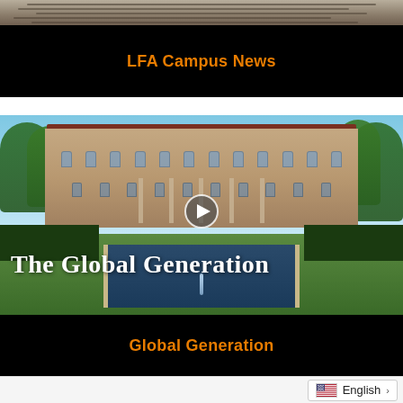[Figure (photo): Partial view of newspaper pages at top of screen]
LFA Campus News
[Figure (photo): Video thumbnail showing 'The Global Generation' with a building, reflecting pool with fountain, trees, and a play button overlay]
Global Generation
English